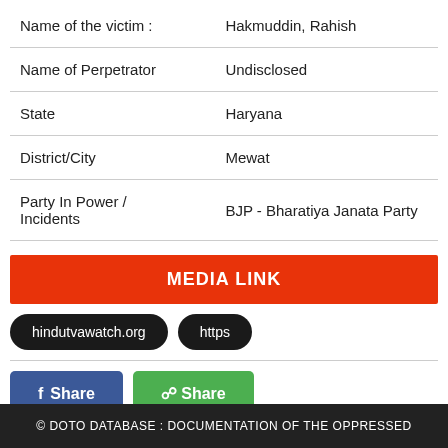| Field | Value |
| --- | --- |
| Name of the victim : | Hakmuddin, Rahish |
| Name of Perpetrator | Undisclosed |
| State | Haryana |
| District/City | Mewat |
| Party In Power / Incidents | BJP - Bharatiya Janata Party |
MEDIA LINK
hindutvawatch.org  https
Share  Share
© DOTO DATABASE : DOCUMENTATION OF THE OPPRESSED